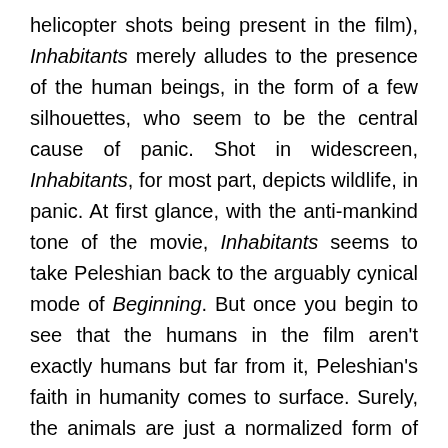helicopter shots being present in the film), Inhabitants merely alludes to the presence of the human beings, in the form of a few silhouettes, who seem to be the central cause of panic. Shot in widescreen, Inhabitants, for most part, depicts wildlife, in panic. At first glance, with the anti-mankind tone of the movie, Inhabitants seems to take Peleshian back to the arguably cynical mode of Beginning. But once you begin to see that the humans in the film aren't exactly humans but far from it, Peleshian's faith in humanity comes to surface. Surely, the animals are just a normalized form of the people of We, of Beginning and of Earth of People. But the relevant question is whether Inhabitants is connected to the Armenian history directly or not. With the visuals showing us exoduses and captive animals and the soundtrack including gunshots and screams, it is not unfair for one to be reminded once more